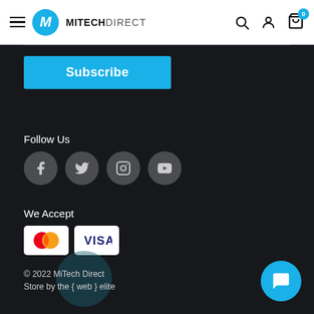[Figure (logo): MiTech Direct logo with blue M circle and hamburger menu in website header]
[Figure (screenshot): Subscribe button in cyan/blue on dark background]
Follow Us
[Figure (infographic): Social media icons: Facebook, Twitter, Instagram, YouTube on gray circles]
We Accept
[Figure (infographic): Payment icons: Mastercard and Visa on white card backgrounds]
© 2022 MiTech Direct
Store by the { web } elite